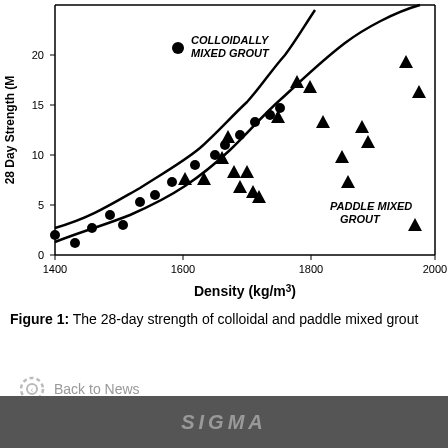[Figure (continuous-plot): Scatter plot with two curve bands showing 28-day compressive strength vs density for colloidally mixed grout (circles) and paddle mixed grout (triangles). Two bounding curves are drawn as exponential-like lines through the data.]
Figure 1: The 28-day strength of colloidal and paddle mixed grout
Back to News